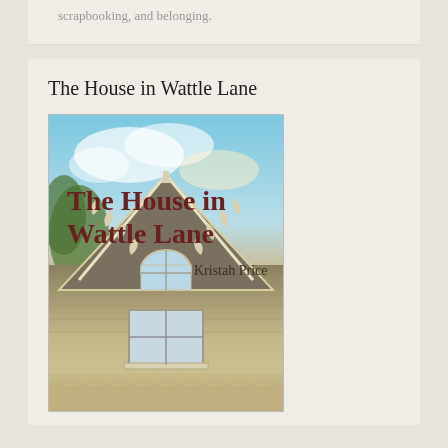scrapbooking, and belonging.
The House in Wattle Lane
[Figure (illustration): Book cover of 'The House in Wattle Lane' by Kristah Price, showing a Victorian-style house gable with ornate trim and a arched window, sky with clouds in the background, title in dark red serif text, author name in smaller text.]